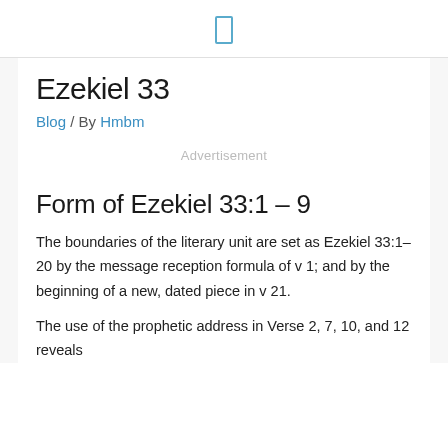[ ]
Ezekiel 33
Blog / By Hmbm
Advertisement
Form of Ezekiel 33:1 – 9
The boundaries of the literary unit are set as Ezekiel 33:1–20 by the message reception formula of v 1; and by the beginning of a new, dated piece in v 21.
The use of the prophetic address in Verse 2, 7, 10, and 12 reveals